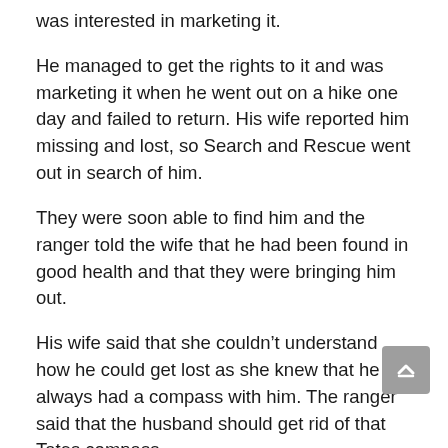was interested in marketing it.
He managed to get the rights to it and was marketing it when he went out on a hike one day and failed to return. His wife reported him missing and lost, so Search and Rescue went out in search of him.
They were soon able to find him and the ranger told the wife that he had been found in good health and that they were bringing him out.
His wife said that she couldn’t understand how he could get lost as she knew that he always had a compass with him. The ranger said that the husband should get rid of that Tates compass.
So the wife asked how he knew that her husband had a Tates. The ranger told her that it was common